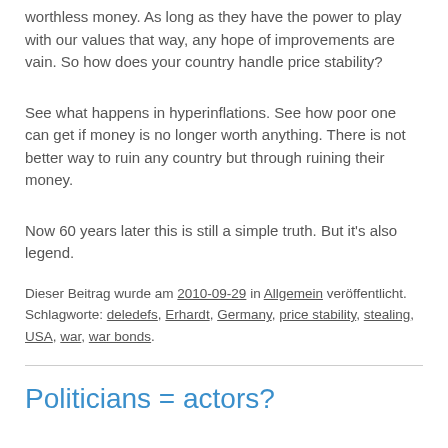worthless money. As long as they have the power to play with our values that way, any hope of improvements are vain. So how does your country handle price stability?
See what happens in hyperinflations. See how poor one can get if money is no longer worth anything. There is not better way to ruin any country but through ruining their money.
Now 60 years later this is still a simple truth. But it's also legend.
Dieser Beitrag wurde am 2010-09-29 in Allgemein veröffentlicht. Schlagworte: deledefs, Erhardt, Germany, price stability, stealing, USA, war, war bonds.
Politicians = actors?